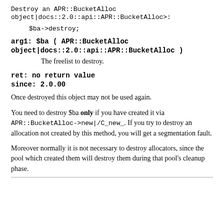Destroy an APR::BucketAlloc object|docs::2.0::api::APR::BucketAlloc>:
$ba->destroy;
arg1: $ba ( APR::BucketAlloc object|docs::2.0::api::APR::BucketAlloc )
The freelist to destroy.
ret: no return value
since: 2.0.00
Once destroyed this object may not be used again.
You need to destroy $ba only if you have created it via APR::BucketAlloc->new|/C_new_. If you try to destroy an allocation not created by this method, you will get a segmentation fault.
Moreover normally it is not necessary to destroy allocators, since the pool which created them will destroy them during that pool's cleanup phase.